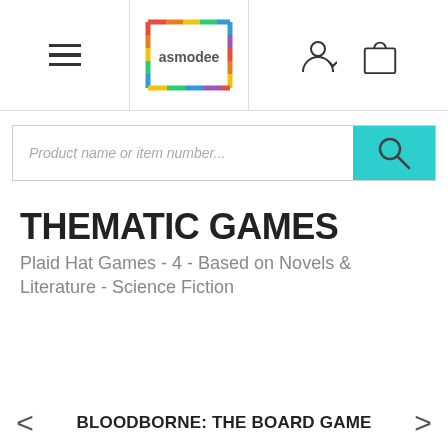[Figure (screenshot): Asmodee website navigation bar with hamburger menu on left, Asmodee logo in center, user account icon and shopping bag icon on right]
Product name or item number...
THEMATIC GAMES
Plaid Hat Games - 4 - Based on Novels & Literature - Science Fiction
BLOODBORNE: THE BOARD GAME